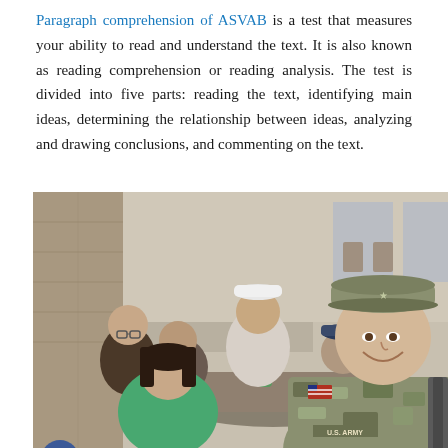Paragraph comprehension of ASVAB is a test that measures your ability to read and understand the text. It is also known as reading comprehension or reading analysis. The test is divided into five parts: reading the text, identifying main ideas, determining the relationship between ideas, analyzing and drawing conclusions, and commenting on the text.
[Figure (photo): Group of young people sitting outdoors at a table, with a U.S. Army soldier in camouflage uniform smiling in the foreground. Social media share buttons (Facebook, Google+, Twitter, plus) are overlaid on the left side of the image.]